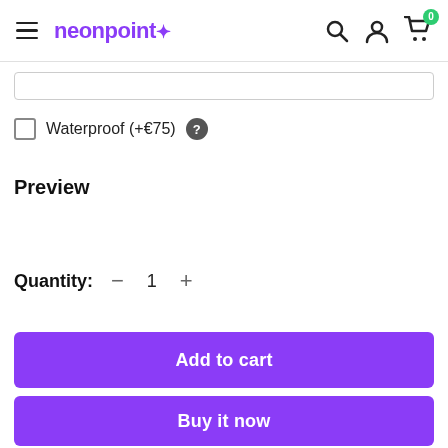neonpoint
Waterproof (+€75)
Preview
Quantity: — 1 +
Add to cart
Buy it now